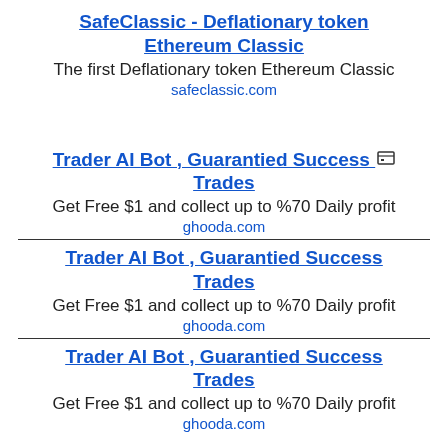SafeClassic - Deflationary token Ethereum Classic
The first Deflationary token Ethereum Classic
safeclassic.com
Trader AI Bot , Guarantied Success Trades
Get Free $1 and collect up to %70 Daily profit
ghooda.com
Trader AI Bot , Guarantied Success Trades
Get Free $1 and collect up to %70 Daily profit
ghooda.com
Trader AI Bot , Guarantied Success Trades
Get Free $1 and collect up to %70 Daily profit
ghooda.com
Trader AI Bot , Guarantied Success